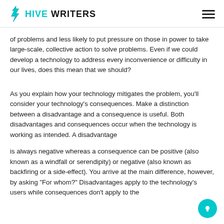HIVE WRITERS
of problems and less likely to put pressure on those in power to take large-scale, collective action to solve problems. Even if we could develop a technology to address every inconvenience or difficulty in our lives, does this mean that we should?
As you explain how your technology mitigates the problem, you'll consider your technology's consequences. Make a distinction between a disadvantage and a consequence is useful. Both disadvantages and consequences occur when the technology is working as intended. A disadvantage
is always negative whereas a consequence can be positive (also known as a windfall or serendipity) or negative (also known as backfiring or a side-effect). You arrive at the main difference, however, by asking "For whom?" Disadvantages apply to the technology's users while consequences don't apply to the